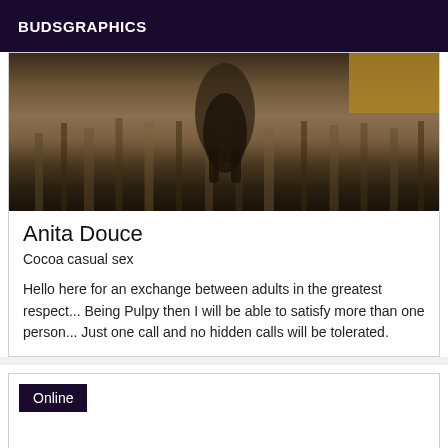BUDSGRAPHICS
[Figure (photo): Blurry photo of a cat or animal walking on a striped carpet/rug floor, dark and brown tones]
Anita Douce
Cocoa casual sex
Hello here for an exchange between adults in the greatest respect... Being Pulpy then I will be able to satisfy more than one person... Just one call and no hidden calls will be tolerated.
Online